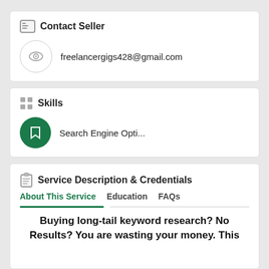Contact Seller
freelancergigs428@gmail.com
Skills
Search Engine Opti...
Service Description & Credentials
About This Service   Education   FAQs
Buying long-tail keyword research? No Results? You are wasting your money. This